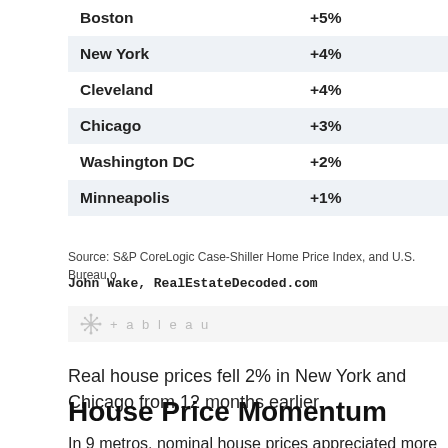| City | Change |
| --- | --- |
| Boston | +5% |
| New York | +4% |
| Cleveland | +4% |
| Chicago | +3% |
| Washington DC | +2% |
| Minneapolis | +1% |
Source: S&P CoreLogic Case-Shiller Home Price Index, and U.S. Bureau o
John Wake, RealEstateDecoded.com
[Figure (logo): Tableau logo watermark in light gray]
Real house prices fell 2% in New York and Chicago from 12 months earlier.
House Price Momentum
In 9 metros, nominal house prices appreciated more